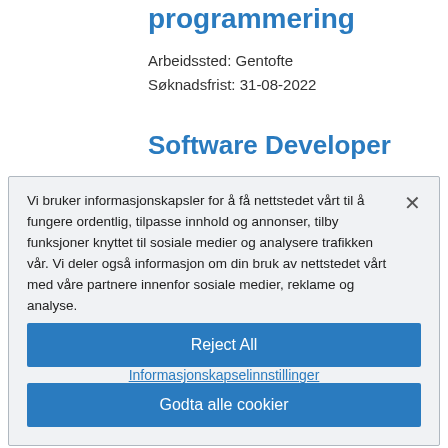programmering
Arbeidssted: Gentofte
Søknadsfrist: 31-08-2022
Software Developer
Vi bruker informasjonskapsler for å få nettstedet vårt til å fungere ordentlig, tilpasse innhold og annonser, tilby funksjoner knyttet til sosiale medier og analysere trafikken vår. Vi deler også informasjon om din bruk av nettstedet vårt med våre partnere innenfor sosiale medier, reklame og analyse.
Informasjonskapselinnstillinger
Reject All
Godta alle cookier